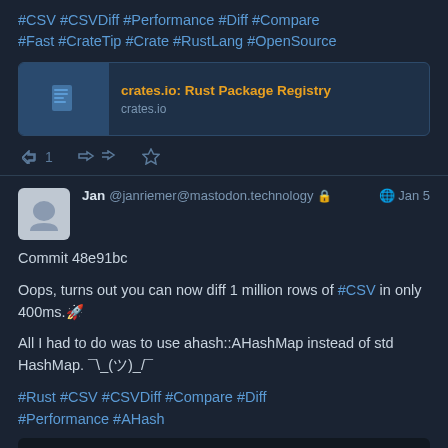#CSV #CSVDiff #Performance #Diff #Compare #Fast #CrateTip #Crate #RustLang #OpenSource
[Figure (screenshot): Link card showing crates.io: Rust Package Registry with document icon and URL crates.io]
Reply 1, Retweet, Star action bar
Jan @janriemer@mastodon.technology 🔒 🌐 Jan 5
Commit 48e91bc

Oops, turns out you can now diff 1 million rows of #CSV in only 400ms.🚀

All I had to do was to use ahash::AHashMap instead of std HashMap. ¯\_(ツ)_/¯

#Rust #CSV #CSVDiff #Compare #Diff #Performance #AHash
[Figure (screenshot): Terminal bar showing: 1000000x9: Collecting 100 s]